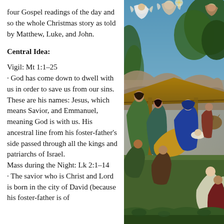four Gospel readings of the day and so the whole Christmas story as told by Matthew, Luke, and John.
Central Idea:
Vigil: Mt 1:1–25
· God has come down to dwell with us in order to save us from our sins. These are his names: Jesus, which means Savior, and Emmanuel, meaning God is with us. His ancestral line from his foster-father's side passed through all the kings and patriarchs of Israel.
Mass during the Night: Lk 2:1–14
· The savior who is Christ and Lord is born in the city of David (because his foster-father is of
[Figure (illustration): A classical Renaissance painting depicting the Nativity scene (likely Botticelli's Mystic Nativity). The painting shows the Nativity with angels in the upper portion, the stable with roof in the middle, and figures including Mary, Joseph, the Christ child, and worshippers in the lower portion. Rich colors including blue, green, gold, and red are prominent.]